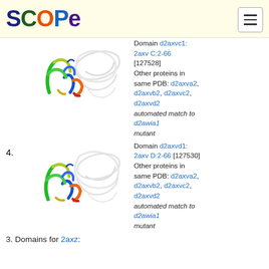SCOPe
[Figure (illustration): Protein structure ribbon diagram for domain d2axvc1 (colored) with grey background protein complex]
Domain d2axvc1: 2axv C:2-66 [127528] Other proteins in same PDB: d2axva2, d2axvb2, d2axvc2, d2axvd2 automated match to d2awia1 mutant
[Figure (illustration): Protein structure ribbon diagram for domain d2axvd1 (colored) with grey background protein complex]
Domain d2axvd1: 2axv D:2-66 [127530] Other proteins in same PDB: d2axva2, d2axvb2, d2axvc2, d2axvd2 automated match to d2awia1 mutant
3. Domains for 2axz: